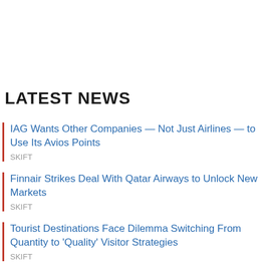LATEST NEWS
IAG Wants Other Companies — Not Just Airlines — to Use Its Avios Points
SKIFT
Finnair Strikes Deal With Qatar Airways to Unlock New Markets
SKIFT
Tourist Destinations Face Dilemma Switching From Quantity to 'Quality' Visitor Strategies
SKIFT
Weak Euro Means Dollar Will Go Further for Americans